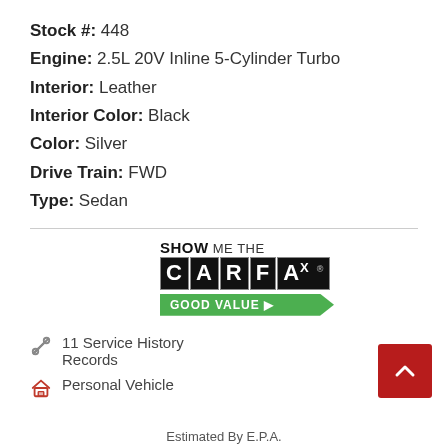Stock #: 448
Engine: 2.5L 20V Inline 5-Cylinder Turbo
Interior: Leather
Interior Color: Black
Color: Silver
Drive Train: FWD
Type: Sedan
[Figure (logo): SHOW ME THE CARFAX GOOD VALUE logo badge]
11 Service History Records
Personal Vehicle
Estimated By E.P.A.